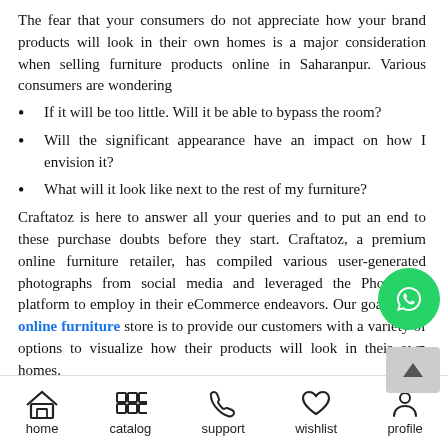The fear that your consumers do not appreciate how your brand products will look in their own homes is a major consideration when selling furniture products online in Saharanpur. Various consumers are wondering
If it will be too little. Will it be able to bypass the room?
Will the significant appearance have an impact on how I envision it?
What will it look like next to the rest of my furniture?
Craftatoz is here to answer all your queries and to put an end to these purchase doubts before they start. Craftatoz, a premium online furniture retailer, has compiled various user-generated photographs from social media and leveraged the Photoslurp platform to employ in their eCommerce endeavors. Our goal at our online furniture store is to provide our customers with a variety of options to visualize how their products will look in their own homes.
Furniture catalog available on the website
Craftatoz website has a furniture catalog that has a wide range...
home  catalog  support  wishlist  profile